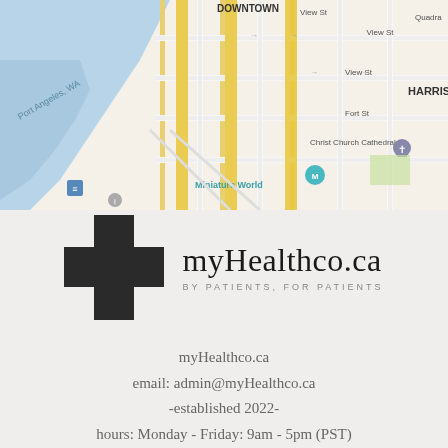[Figure (map): Google Maps screenshot showing downtown Victoria, BC area with streets including View St, Fort St, Quadra St, and landmarks including Miniature World, Christ Church Cathedral. Water/harbor visible on the left (Port Angeles, WA label). Major roads highlighted in yellow. Teal/blue water areas on left side.]
[Figure (logo): myHealthco.ca logo: dark plus/cross symbol on the left, company name 'myHealthco.ca' in large serif font, tagline 'BY PATIENTS, FOR PATIENTS' in small spaced sans-serif below.]
myHealthco.ca
email: admin@myHealthco.ca
-established 2022-
hours: Monday - Friday: 9am - 5pm (PST)